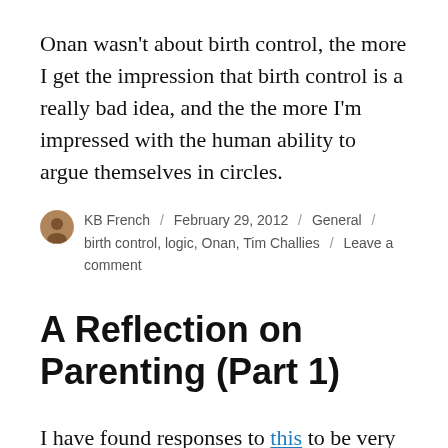Onan wasn't about birth control, the more I get the impression that birth control is a really bad idea, and the the more I'm impressed with the human ability to argue themselves in circles.
KB French / February 29, 2012 / General / birth control, logic, Onan, Tim Challies / Leave a comment
A Reflection on Parenting (Part 1)
I have found responses to this to be very frustrating. Ever since the Time article came out, there have been a lot of media sources jumping on it and railing about the horrors of